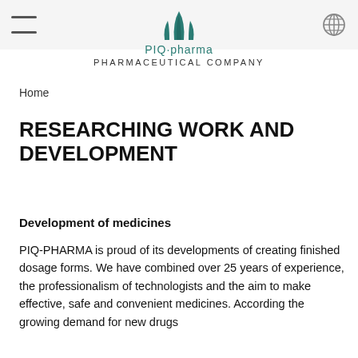[Figure (logo): PIQ-pharma pharmaceutical company logo — teal stylized tulip/column icon above the text 'PIQ·pharma' in teal and below 'PHARMACEUTICAL COMPANY' in grey]
Home
RESEARCHING WORK AND DEVELOPMENT
Development of medicines
PIQ-PHARMA is proud of its developments of creating finished dosage forms. We have combined over 25 years of experience, the professionalism of technologists and the aim to make effective, safe and convenient medicines. According the growing demand for new drugs